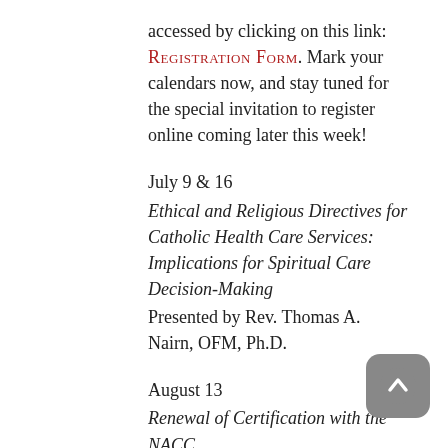accessed by clicking on this link: REGISTRATION FORM. Mark your calendars now, and stay tuned for the special invitation to register online coming later this week!
July 9 & 16
Ethical and Religious Directives for Catholic Health Care Services: Implications for Spiritual Care Decision-Making
Presented by Rev. Thomas A. Nairn, OFM, Ph.D.
August 13
Renewal of Certification with the NACC
August 20
Certification with the NACC
September 10 & 17